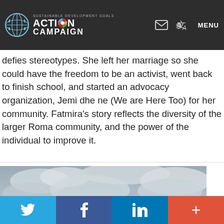SUSTAINABLE DEVELOPMENT GOALS ACTION CAMPAIGN | MENU
defies stereotypes. She left her marriage so she could have the freedom to be an activist, went back to finish school, and started an advocacy organization, Jemi dhe ne (We are Here Too) for her community. Fatmira's story reflects the diversity of the larger Roma community, and the power of the individual to improve it.
[Figure (photo): A camera lens or small black object resting on a surface with a dramatic cloudy sky background]
[Figure (other): Social sharing bar with Twitter, Facebook, LinkedIn, and more (+) buttons]